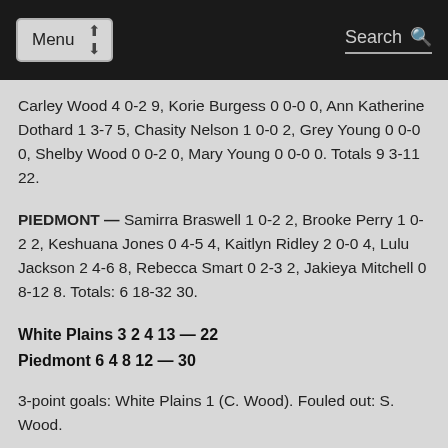Menu | Search
Carley Wood 4 0-2 9, Korie Burgess 0 0-0 0, Ann Katherine Dothard 1 3-7 5, Chasity Nelson 1 0-0 2, Grey Young 0 0-0 0, Shelby Wood 0 0-2 0, Mary Young 0 0-0 0. Totals 9 3-11 22.
PIEDMONT — Samirra Braswell 1 0-2 2, Brooke Perry 1 0-2 2, Keshuana Jones 0 4-5 4, Kaitlyn Ridley 2 0-0 4, Lulu Jackson 2 4-6 8, Rebecca Smart 0 2-3 2, Jakieya Mitchell 0 8-12 8. Totals: 6 18-32 30.
White Plains 3 2 4 13 — 22
Piedmont 6 4 8 12 — 30
3-point goals: White Plains 1 (C. Wood). Fouled out: S. Wood.
NEWS TICKER